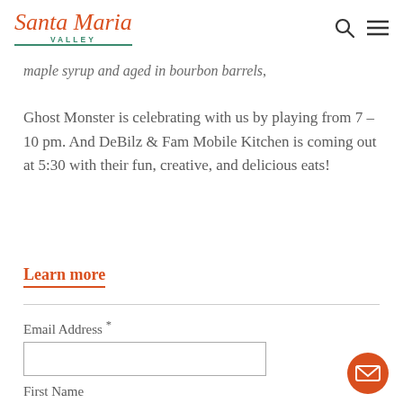Santa Maria Valley
maple syrup and aged in bourbon barrels,
Ghost Monster is celebrating with us by playing from 7 – 10 pm. And DeBilz & Fam Mobile Kitchen is coming out at 5:30 with their fun, creative, and delicious eats!
Learn more
Email Address *
First Name